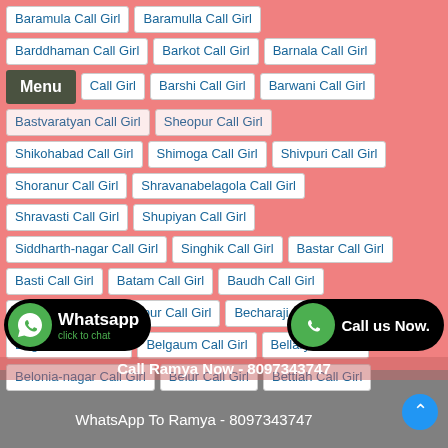Baramula Call Girl | Baramulla Call Girl
Barddhaman Call Girl | Barkot Call Girl | Barnala Call Girl
Menu | Call Girl | Barshi Call Girl | Barwani Call Girl
Bastvaratyan Call Girl | Sheopur Call Girl
Shikohabad Call Girl | Shimoga Call Girl | Shivpuri Call Girl
Shoranur Call Girl | Shravanabelagola Call Girl
Shravasti Call Girl | Shupiyan Call Girl
Siddharth-nagar Call Girl | Singhik Call Girl | Bastar Call Girl
Basti Call Girl | Batam Call Girl | Baudh Call Girl
Bavla Call Girl | Bazpur Call Girl | Becharaji Call Girl
Begusarai Call Girl | Belgaum Call Girl | Bellary Call Girl
Belonia-nagar Call Girl | Belur Call Girl | Bettiah Call Girl
Whatsapp click to chat
Call us Now.
Call Ramya Now - 8097343747
WhatsApp To Ramya - 8097343747